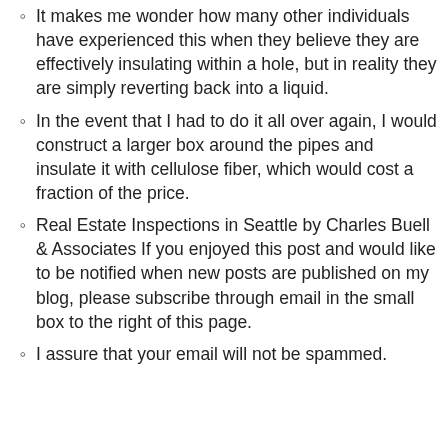It makes me wonder how many other individuals have experienced this when they believe they are effectively insulating within a hole, but in reality they are simply reverting back into a liquid.
In the event that I had to do it all over again, I would construct a larger box around the pipes and insulate it with cellulose fiber, which would cost a fraction of the price.
Real Estate Inspections in Seattle by Charles Buell & Associates If you enjoyed this post and would like to be notified when new posts are published on my blog, please subscribe through email in the small box to the right of this page.
I assure that your email will not be spammed.